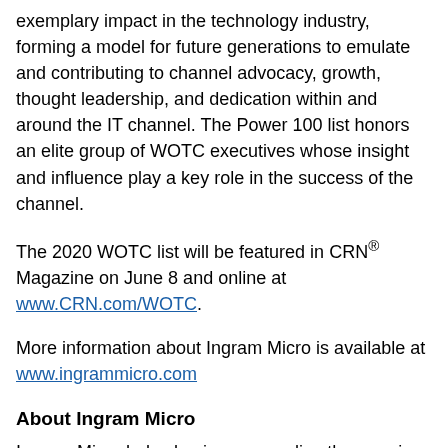exemplary impact in the technology industry, forming a model for future generations to emulate and contributing to channel advocacy, growth, thought leadership, and dedication within and around the IT channel. The Power 100 list honors an elite group of WOTC executives whose insight and influence play a key role in the success of the channel.
The 2020 WOTC list will be featured in CRN® Magazine on June 8 and online at www.CRN.com/WOTC.
More information about Ingram Micro is available at www.ingrammicro.com
About Ingram Micro
Ingram Micro helps businesses realize the promise of technology. It delivers a full spectrum of global technology and supply chain services to businesses around the world. Deep expertise in technology solutions, mobility, cloud, and supply chain solutions enables its business partners to operate efficiently and successfully in the markets they serve. Unrivaled